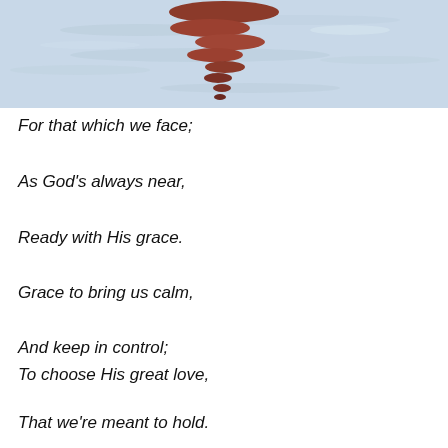[Figure (photo): A close-up photograph of water surface with ripples and reflections of a dark reddish-brown object (possibly a buoy or post) creating abstract patterns on the light blue water.]
For that which we face;
As God's always near,
Ready with His grace.
Grace to bring us calm,
And keep in control;
To choose His great love,
That we're meant to hold.